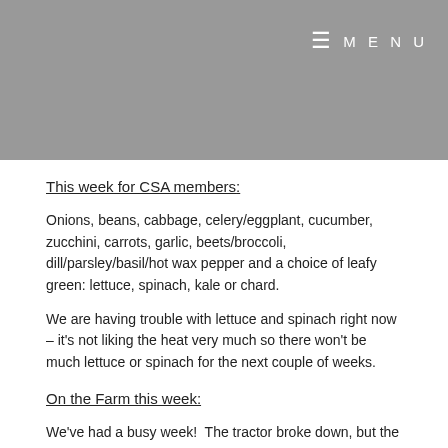≡ MENU
This week for CSA members:
Onions, beans, cabbage, celery/eggplant, cucumber, zucchini, carrots, garlic, beets/broccoli, dill/parsley/basil/hot wax pepper and a choice of leafy green: lettuce, spinach, kale or chard.
We are having trouble with lettuce and spinach right now – it's not liking the heat very much so there won't be much lettuce or spinach for the next couple of weeks.
On the Farm this week:
We've had a busy week!  The tractor broke down, but the timing was perfect because the next day my friends Kelvin and Anna decided to come for a visit!  Kelvin spent the entire day getting